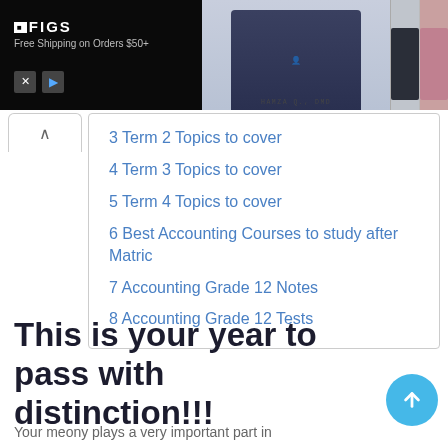[Figure (photo): FIGS medical apparel advertisement banner showing a man in navy jacket with medical badge, two product images of medical scrub pants (dark and pink), with 'FIGS Free Shipping on Orders $50+' text and ad controls]
3 Term 2 Topics to cover
4 Term 3 Topics to cover
5 Term 4 Topics to cover
6 Best Accounting Courses to study after Matric
7 Accounting Grade 12 Notes
8 Accounting Grade 12 Tests
This is your year to pass with distinction!!!
Your meony plays a very importantpart in